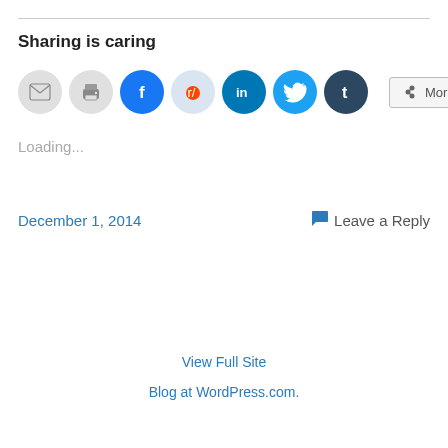Sharing is caring
[Figure (infographic): A row of social sharing icons: email (grey circle), print (grey circle), Facebook (blue circle with f), Reddit (light blue circle with alien logo), LinkedIn (teal circle with in), Twitter (blue circle with bird), Tumblr (dark blue circle with t), and a More button with share icon]
Loading...
December 1, 2014
Leave a Reply
View Full Site
Blog at WordPress.com.